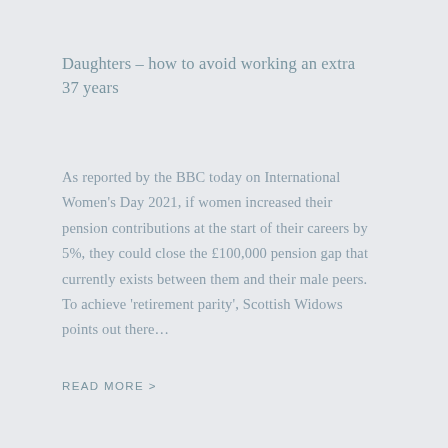Daughters – how to avoid working an extra 37 years
As reported by the BBC today on International Women's Day 2021, if women increased their pension contributions at the start of their careers by 5%, they could close the £100,000 pension gap that currently exists between them and their male peers. To achieve 'retirement parity', Scottish Widows points out there…
READ MORE >